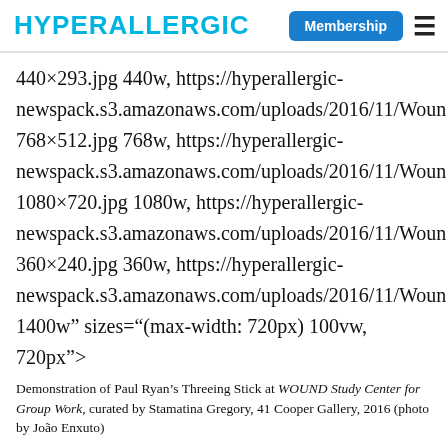HYPERALLERGIC  Membership  ☰
440×293.jpg 440w, https://hyperallergic-newspack.s3.amazonaws.com/uploads/2016/11/Woun 768×512.jpg 768w, https://hyperallergic-newspack.s3.amazonaws.com/uploads/2016/11/Woun 1080×720.jpg 1080w, https://hyperallergic-newspack.s3.amazonaws.com/uploads/2016/11/Woun 360×240.jpg 360w, https://hyperallergic-newspack.s3.amazonaws.com/uploads/2016/11/Woun 1400w" sizes="(max-width: 720px) 100vw, 720px">
Demonstration of Paul Ryan's Threeing Stick at WOUND Study Center for Group Work, curated by Stamatina Gregory, 41 Cooper Gallery, 2016 (photo by João Enxuto)